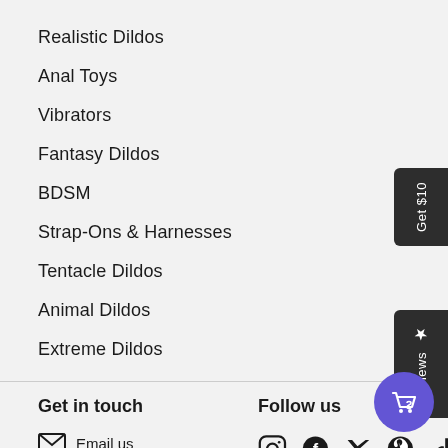Realistic Dildos
Anal Toys
Vibrators
Fantasy Dildos
BDSM
Strap-Ons & Harnesses
Tentacle Dildos
Animal Dildos
Extreme Dildos
Get in touch
Email us
Follow us
[Figure (other): Social media icons: Instagram, Facebook, Twitter, Pinterest, TikTok, Tumblr]